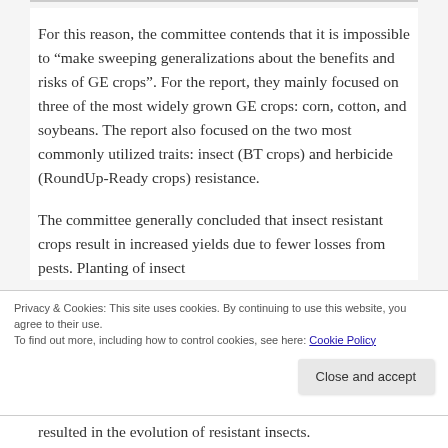For this reason, the committee contends that it is impossible to “make sweeping generalizations about the benefits and risks of GE crops”. For the report, they mainly focused on three of the most widely grown GE crops: corn, cotton, and soybeans. The report also focused on the two most commonly utilized traits: insect (BT crops) and herbicide (RoundUp-Ready crops) resistance.
The committee generally concluded that insect resistant crops result in increased yields due to fewer losses from pests. Planting of insect
Privacy & Cookies: This site uses cookies. By continuing to use this website, you agree to their use.
To find out more, including how to control cookies, see here: Cookie Policy
resulted in the evolution of resistant insects.